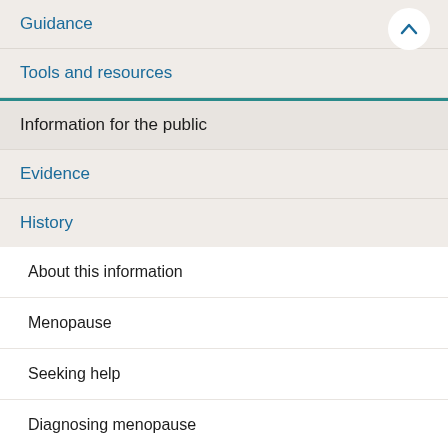Guidance
Tools and resources
Information for the public
Evidence
History
About this information
Menopause
Seeking help
Diagnosing menopause
Information about menopause
Menopause as a result of medical treatment